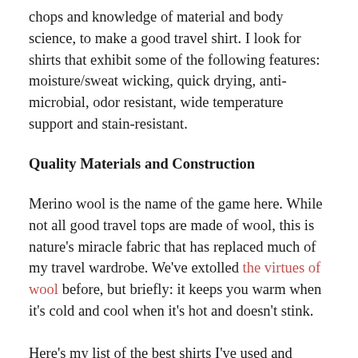chops and knowledge of material and body science, to make a good travel shirt. I look for shirts that exhibit some of the following features: moisture/sweat wicking, quick drying, anti-microbial, odor resistant, wide temperature support and stain-resistant.
Quality Materials and Construction
Merino wool is the name of the game here. While not all good travel tops are made of wool, this is nature's miracle fabric that has replaced much of my travel wardrobe. We've extolled the virtues of wool before, but briefly: it keeps you warm when it's cold and cool when it's hot and doesn't stink.
Here's my list of the best shirts I've used and tested for the past six to twelve months. I've worn them on